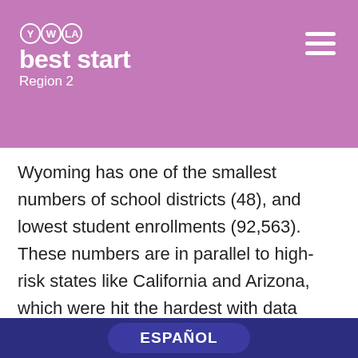best start Region 2
Wyoming has one of the smallest numbers of school districts (48), and lowest student enrollments (92,563). These numbers are in parallel to high-risk states like California and Arizona, which were hit the hardest with data breaches. Their total number of districts are (941) and (226), respectively.
There is a clear pattern indicating that schools and districts that deal with a larger number of students, thus larger volumes of information, are most
ESPAÑOL